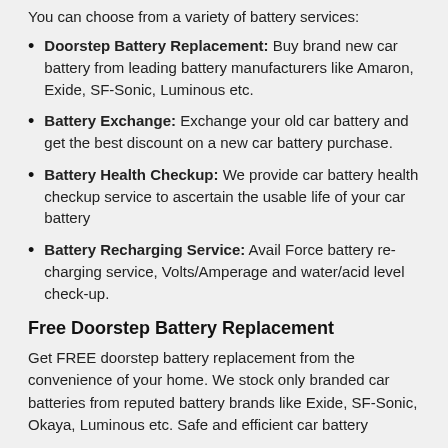You can choose from a variety of battery services:
Doorstep Battery Replacement: Buy brand new car battery from leading battery manufacturers like Amaron, Exide, SF-Sonic, Luminous etc.
Battery Exchange: Exchange your old car battery and get the best discount on a new car battery purchase.
Battery Health Checkup: We provide car battery health checkup service to ascertain the usable life of your car battery
Battery Recharging Service: Avail Force battery recharging service, Volts/Amperage and water/acid level check-up.
Free Doorstep Battery Replacement
Get FREE doorstep battery replacement from the convenience of your home. We stock only branded car batteries from reputed battery brands like Exide, SF-Sonic, Okaya, Luminous etc. Safe and efficient car battery